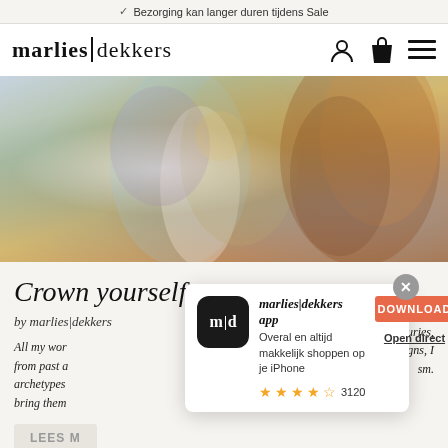✓ Bezorging kan langer duren tijdens Sale
marlies|dekkers
[Figure (photo): Woman wearing a colorful paisley patterned jacket, showing her auburn curly hair]
Crown yourself
by marlies|dekkers
All my worl from past a archetypes bring them male icons centuries, signs, I sm.
[Figure (screenshot): Mobile app download popup for marlies|dekkers app with app icon, description 'Overal en altijd makkelijk shoppen op je iPhone', DOWNLOAD button, Open direct link, and 3120 ratings with 4.5 stars]
LEES M